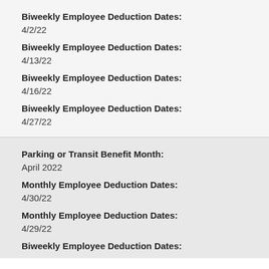Biweekly Employee Deduction Dates:
4/2/22
Biweekly Employee Deduction Dates:
4/13/22
Biweekly Employee Deduction Dates:
4/16/22
Biweekly Employee Deduction Dates:
4/27/22
Parking or Transit Benefit Month:
April 2022
Monthly Employee Deduction Dates:
4/30/22
Monthly Employee Deduction Dates:
4/29/22
Biweekly Employee Deduction Dates: